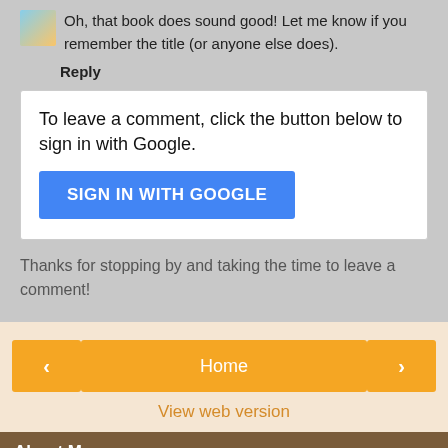Oh, that book does sound good! Let me know if you remember the title (or anyone else does).
Reply
To leave a comment, click the button below to sign in with Google.
SIGN IN WITH GOOGLE
Thanks for stopping by and taking the time to leave a comment!
Home
View web version
About Me
Jill
Alexandria, Virginia, United States